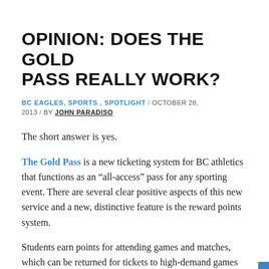OPINION: DOES THE GOLD PASS REALLY WORK?
BC EAGLES, SPORTS, SPOTLIGHT / OCTOBER 28, 2013 / BY JOHN PARADISO
The short answer is yes.
The Gold Pass is a new ticketing system for BC athletics that functions as an “all-access” pass for any sporting event. There are several clear positive aspects of this new service and a new, distinctive feature is the reward points system.
Students earn points for attending games and matches, which can be returned for tickets to high-demand games or special events. This is a wholly new and perhaps strange